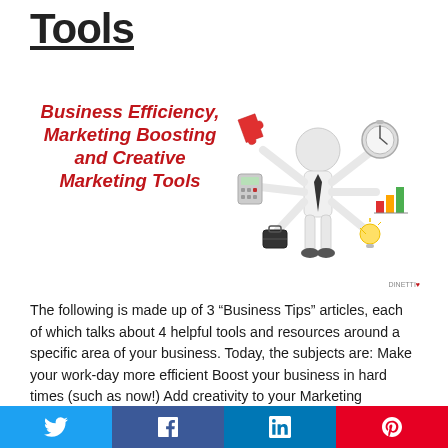Tools
[Figure (illustration): A multi-armed 3D white stick figure businessman holding business items (puzzle piece, stopwatch, calculator, bar chart, briefcase, lightbulb) with the text 'Business Efficiency, Marketing Boosting and Creative Marketing Tools' in red italic bold on the left side.]
The following is made up of 3 “Business Tips” articles, each of which talks about 4 helpful tools and resources around a specific area of your business. Today, the subjects are: Make your work-day more efficient Boost your business in hard times (such as now!) Add creativity to your Marketing Harness Your Work Day With...